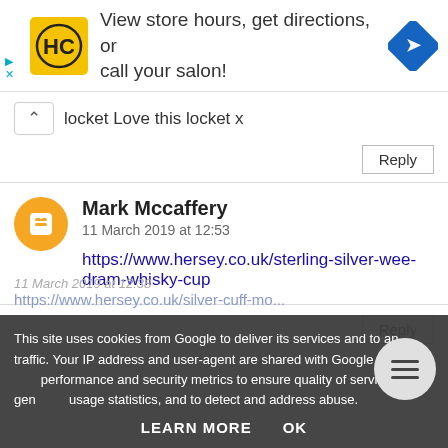[Figure (screenshot): Advertisement banner with HC (Hair Club) logo in yellow square, text 'View store hours, get directions, or call your salon!', and a blue map/directions diamond icon on the right.]
locket Love this locket x
Reply
Mark Mccaffery
11 March 2019 at 12:53
https://www.hersey.co.uk/sterling-silver-wee-dram-whisky-cup
Reply
This site uses cookies from Google to deliver its services and to analyze traffic. Your IP address and user-agent are shared with Google along with performance and security metrics to ensure quality of service, generate usage statistics, and to detect and address abuse.
LEARN MORE   OK